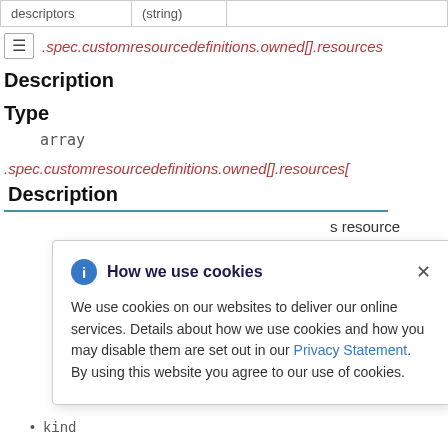| descriptors | (string) |
| --- | --- |
|  |
.spec.customresourcedefinitions.owned[].resources
Description
Type
array
.spec.customresourcedefinitions.owned[].resources[
Description
How we use cookies

We use cookies on our websites to deliver our online services. Details about how we use cookies and how you may disable them are set out in our Privacy Statement. By using this website you agree to our use of cookies.
s resource
kind